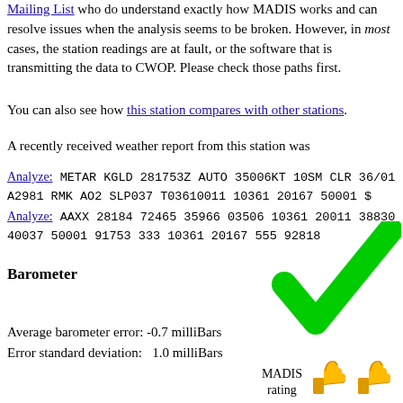Mailing List who do understand exactly how MADIS works and can resolve issues when the analysis seems to be broken. However, in most cases, the station readings are at fault, or the software that is transmitting the data to CWOP. Please check those paths first.
You can also see how this station compares with other stations.
A recently received weather report from this station was
Analyze: METAR KGLD 281753Z AUTO 35006KT 10SM CLR 36/01 A2981 RMK AO2 SLP037 T03610011 10361 20167 50001 $
Analyze: AAXX 28184 72465 35966 03506 10361 20011 38830 40037 50001 91753 333 10361 20167 555 92818
Barometer
Average barometer error: -0.7 milliBars
Error standard deviation:   1.0 milliBars
[Figure (illustration): Large green checkmark symbol indicating good/pass result]
MADIS rating
[Figure (illustration): Two green thumbs-up icons representing MADIS rating]